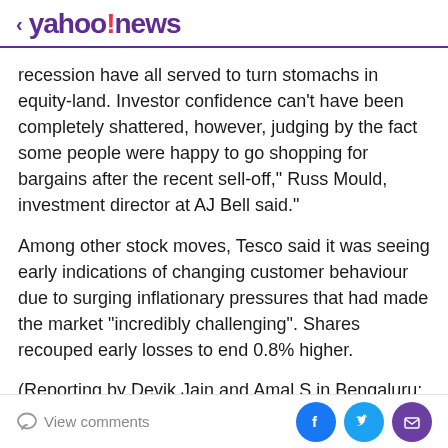< yahoo!news
recession have all served to turn stomachs in equity-land. Investor confidence can't have been completely shattered, however, judging by the fact some people were happy to go shopping for bargains after the recent sell-off," Russ Mould, investment director at AJ Bell said."
Among other stock moves, Tesco said it was seeing early indications of changing customer behaviour due to surging inflationary pressures that had made the market "incredibly challenging". Shares recouped early losses to end 0.8% higher.
(Reporting by Devik Jain and Amal S in Bengaluru; Editing by Shailesh Kuber and Alison Williams)
View comments